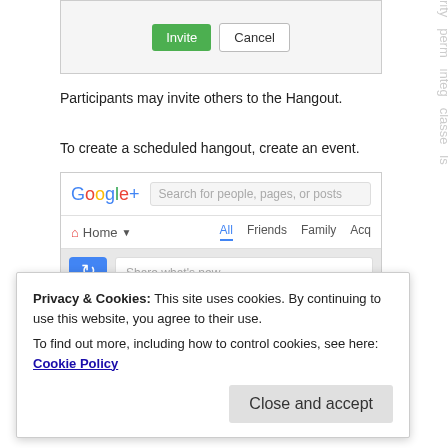[Figure (screenshot): Invite / Cancel button UI screenshot strip]
Participants may invite others to the Hangout.
To create a scheduled hangout, create an event.
[Figure (screenshot): Google+ interface showing Home navigation, stream with Share what's new text box, and bottom icons for post, photo, link, video, event]
Privacy & Cookies: This site uses cookies. By continuing to use this website, you agree to their use.
To find out more, including how to control cookies, see here: Cookie Policy
Close and accept